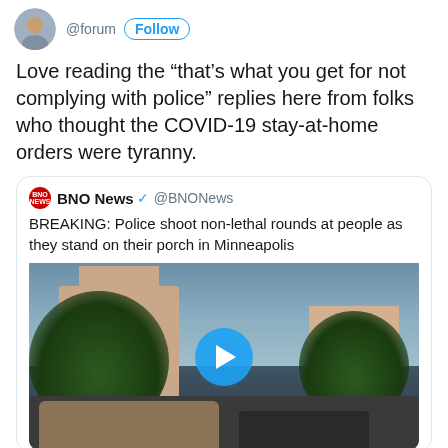@forum · Follow
Love reading the “that’s what you get for not complying with police” replies here from folks who thought the COVID-19 stay-at-home orders were tyranny.
[Figure (screenshot): Quoted tweet from BNO News @BNONews: BREAKING: Police shoot non-lethal rounds at people as they stand on their porch in Minneapolis, with a video thumbnail showing a street scene with a military vehicle and a play button overlay]